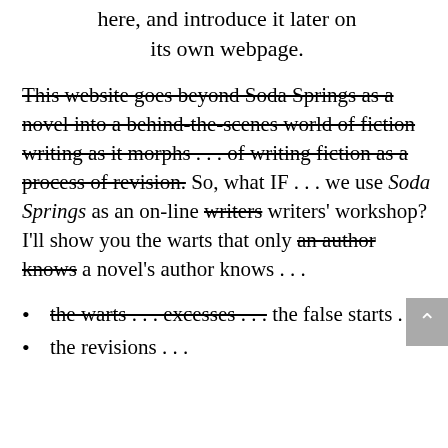here, and introduce it later on its own webpage.
This website goes beyond Soda Springs as a novel into a behind-the-scenes world of fiction writing as it morphs ... of writing fiction as a process of revision. So, what IF ... we use Soda Springs as an on-line writers writers' workshop? I'll show you the warts that only an author knows a novel's author knows ...
the warts ... excesses ... the false starts ...
the revisions ...